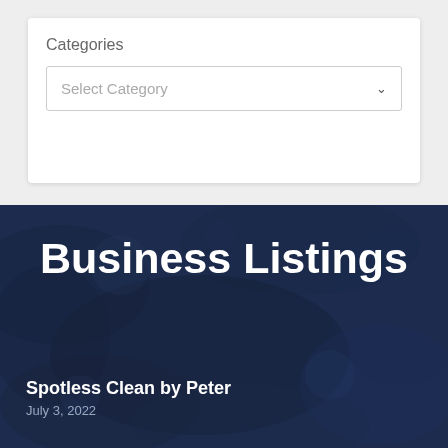Categories
Select Category
Business Listings
Spotless Clean by Peter
July 3, 2022